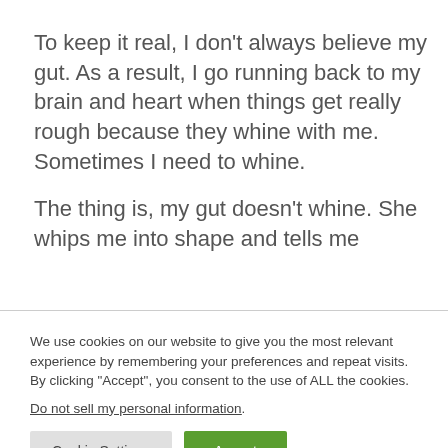To keep it real, I don’t always believe my gut. As a result, I go running back to my brain and heart when things get really rough because they whine with me. Sometimes I need to whine.
The thing is, my gut doesn’t whine. She whips me into shape and tells me
We use cookies on our website to give you the most relevant experience by remembering your preferences and repeat visits. By clicking “Accept”, you consent to the use of ALL the cookies.
Do not sell my personal information.